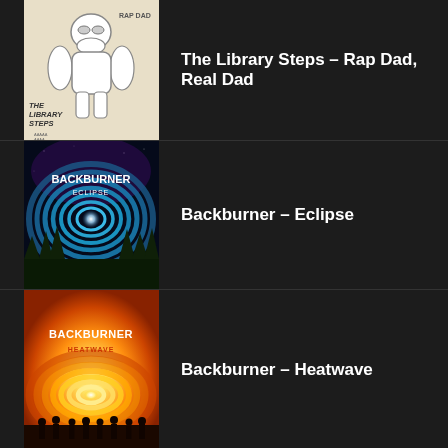[Figure (illustration): Album art for The Library Steps – Rap Dad, Real Dad. Hand-drawn style illustration of a cartoon robot/golem character in white on beige background with 'THE LIBRARY STEPS' text and small text below.]
The Library Steps – Rap Dad, Real Dad
[Figure (photo): Album art for Backburner – Eclipse. Circular ripple pattern in blue/teal on a space/cosmic background with bright light at center and silhouetted trees at bottom. Text reads BACKBURNER ECLIPSE.]
Backburner – Eclipse
[Figure (photo): Album art for Backburner – Heatwave. Orange/yellow concentric arcs of light radiating from center, with silhouetted figures at bottom. Text reads BACKBURNER HEATWAVE.]
Backburner – Heatwave